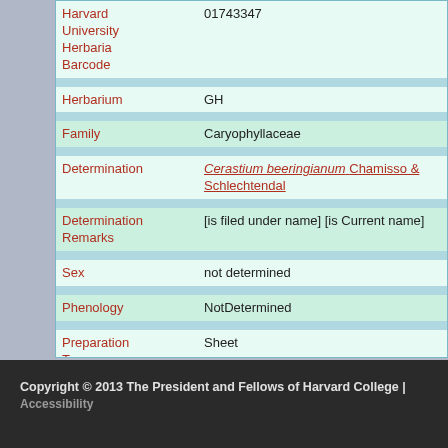| Field | Value |
| --- | --- |
| Harvard University Herbaria Barcode | 01743347 |
| Herbarium | GH |
| Family | Caryophyllaceae |
| Determination | Cerastium beeringianum Chamisso & Schlechtendal |
| Determination Remarks | [is filed under name] [is Current name] |
| Sex | not determined |
| Phenology | NotDetermined |
| Preparation Type | Sheet |
| Preparation Method | Pressed |
Copyright © 2013 The President and Fellows of Harvard College | Accessibility